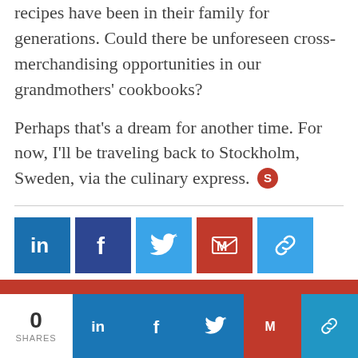recipes have been in their family for generations. Could there be unforeseen cross-merchandising opportunities in our grandmothers' cookbooks?
Perhaps that's a dream for another time. For now, I'll be traveling back to Stockholm, Sweden, via the culinary express. [S]
[Figure (infographic): Social share buttons row: LinkedIn (blue), Facebook (dark blue), Twitter (light blue), Gmail (red), Link (light blue)]
[Figure (infographic): Bottom share bar with 0 SHARES count, and social icons: LinkedIn, Facebook, Twitter, Gmail, Link]